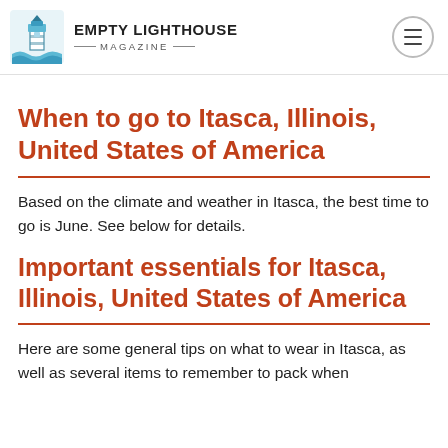EMPTY LIGHTHOUSE MAGAZINE
When to go to Itasca, Illinois, United States of America
Based on the climate and weather in Itasca, the best time to go is June. See below for details.
Important essentials for Itasca, Illinois, United States of America
Here are some general tips on what to wear in Itasca, as well as several items to remember to pack when